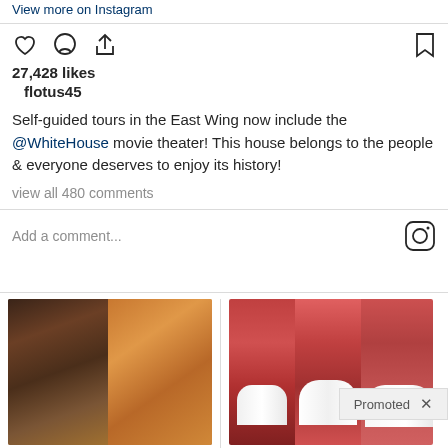View more on Instagram
27,428 likes
flotus45
Self-guided tours in the East Wing now include the @WhiteHouse movie theater! This house belongs to the people & everyone deserves to enjoy its history!
view all 480 comments
Add a comment...
Promoted X
[Figure (photo): Ad image: fitness woman and spice on spoon]
A Teaspoon On An Empty Stomach Burns Fat Like Crazy!
139,894
[Figure (photo): Ad image: dental implants close-up photos]
Think Dental Implants Are Expensive? Think Again (See Prices)
16,257